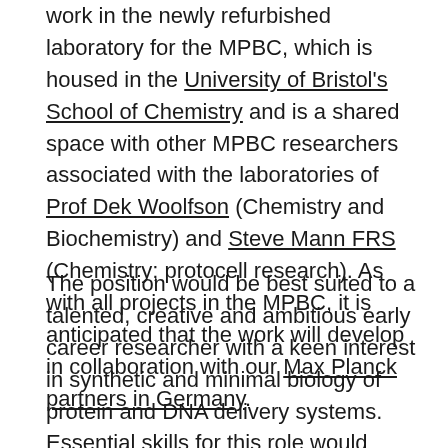work in the newly refurbished laboratory for the MPBC, which is housed in the University of Bristol's School of Chemistry and is a shared space with other MPBC researchers associated with the laboratories of Prof Dek Woolfson (Chemistry and Biochemistry) and Steve Mann FRS (Chemistry; protocell research). As with all projects in the MPBC, it is anticipated that the work will develop in collaboration with our Max Planck partners in Germany.
The position would be best suited to a talented, creative and ambitious early career researcher with a keen interest in synthetic and minimal biology of protein and DNA delivery systems. Essential skills for this role would include: experience with molecular biology and tissue culture techniques, construction and delivery of multifunctional synthetic gene circuitry in mammalian cells, CRISPR and non-CRISPR gene